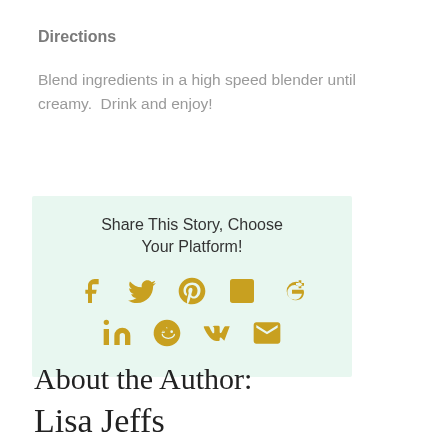Directions
Blend ingredients in a high speed blender until creamy.  Drink and enjoy!
[Figure (infographic): Share This Story, Choose Your Platform! box with social media icons (Facebook, Twitter, Pinterest, Tumblr, Google+, LinkedIn, Reddit, VK, Email) in gold/yellow color on a light mint green background.]
About the Author:
Lisa Jeffs